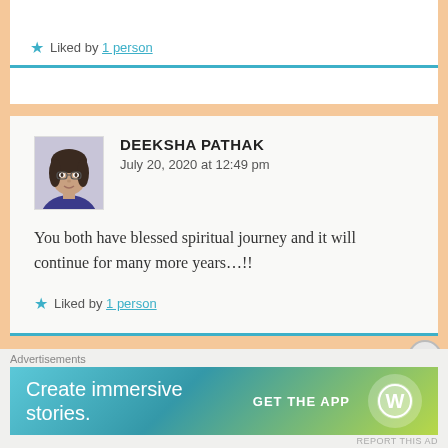Liked by 1 person
DEEKSHA PATHAK
July 20, 2020 at 12:49 pm
You both have blessed spiritual journey and it will continue for many more years…!!
Liked by 1 person
GUILTLESS PASSION
July 20, 2020 at 9:33 pm
Advertisements
[Figure (infographic): WordPress advertisement banner: 'Create immersive stories.' with GET THE APP button and WordPress logo]